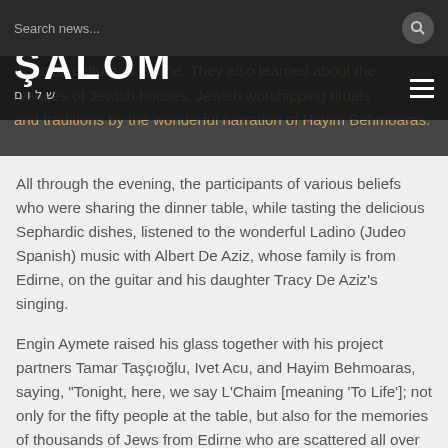Search news...
ŞALOM
Spanish culture of Edirne. They also learned about the features of Jewish houses, Jewish worshipping rituals and traditions by the wonderful narration of Hayim Behmoaras.
All through the evening, the participants of various beliefs who were sharing the dinner table, while tasting the delicious Sephardic dishes, listened to the wonderful Ladino (Judeo Spanish) music with Albert De Aziz, whose family is from Edirne, on the guitar and his daughter Tracy De Aziz's singing.
Engin Aymete raised his glass together with his project partners Tamar Taşçıoğlu, Ivet Acu, and Hayim Behmoaras, saying, "Tonight, here, we say L'Chaim [meaning 'To Life']; not only for the fifty people at the table, but also for the memories of thousands of Jews from Edirne who are scattered all over the world and who are unfortunately no longer with us."